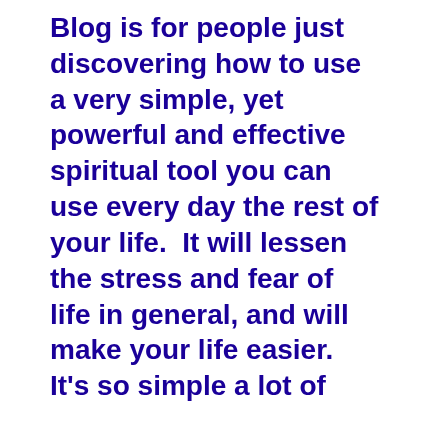Blog is for people just discovering how to use a very simple, yet powerful and effective spiritual tool you can use every day the rest of your life.  It will lessen the stress and fear of life in general, and will make your life easier.  It's so simple a lot of